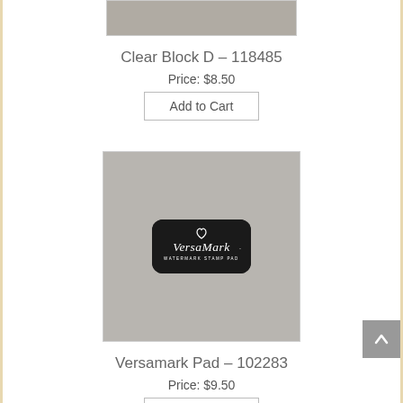[Figure (photo): Partial gray rectangle image at top of page (bottom portion of Clear Block D product image)]
Clear Block D – 118485
Price: $8.50
Add to Cart
[Figure (photo): VersaMark Watermark Stamp Pad – black ink pad on gray background]
Versamark Pad – 102283
Price: $9.50
Add to Cart